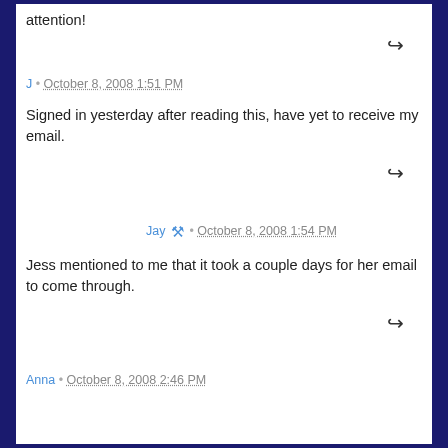attention!
↪ (reply arrow)
J · October 8, 2008 1:51 PM
Signed in yesterday after reading this, have yet to receive my email.
↪ (reply arrow)
Jay 🔧 · October 8, 2008 1:54 PM
Jess mentioned to me that it took a couple days for her email to come through.
↪ (reply arrow)
Anna · October 8, 2008 2:46 PM